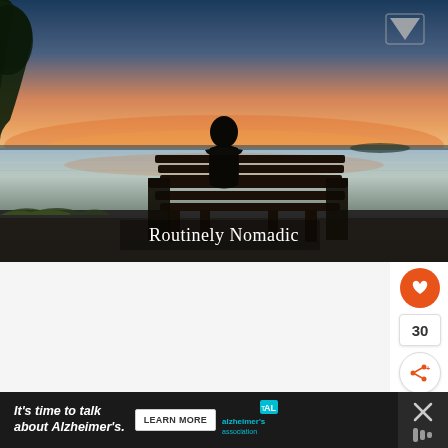[Figure (photo): A person sitting alone on a dark wooden bench, silhouetted against a calm lake at sunset with orange and pink sky. Text overlay reads 'Routinely Nomadic'. A triangle/play icon is visible in the top right corner.]
[Figure (infographic): UI action buttons: orange heart/like button, count '30', and an orange share button with plus icon, displayed vertically on the right side.]
[Figure (infographic): Advertisement bar: dark background, italic text 'It's time to talk about Alzheimer's.' with a 'LEARN MORE' button, Alzheimer's Association logo, and a close X button on far right.]